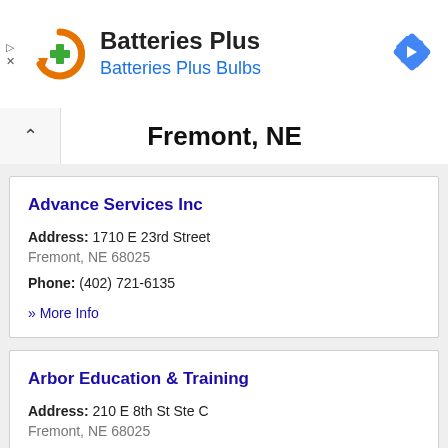[Figure (logo): Batteries Plus logo with orange circular arrow and green plus sign]
Batteries Plus
Batteries Plus Bulbs
[Figure (other): Blue diamond navigation/turn right icon]
Fremont, NE
Advance Services Inc
Address: 1710 E 23rd Street
Fremont, NE 68025
Phone: (402) 721-6135
» More Info
Arbor Education & Training
Address: 210 E 8th St Ste C
Fremont, NE 68025